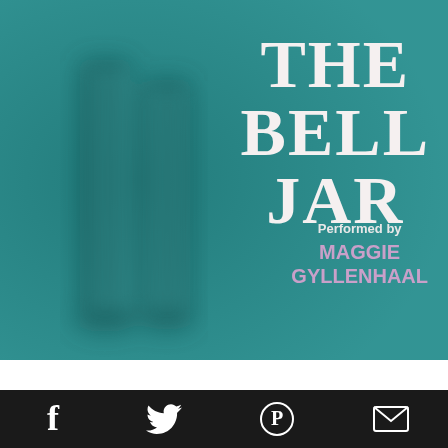[Figure (illustration): Book cover for 'The Bell Jar' audiobook. Teal/dark cyan background with a blurred shadow of a person's lower legs/feet on left side. Large white decorative serif text reading 'THE BELL JAR' on the upper right. Below the title: 'Performed by' in white and 'MAGGIE GYLLENHAAL' in pink/lavender text.]
THE BELL JAR
Performed by
MAGGIE GYLLENHAAL
[Figure (infographic): Black footer bar with four white social media icons: Facebook (f), Twitter (bird), Pinterest (circle with P), Email (envelope)]